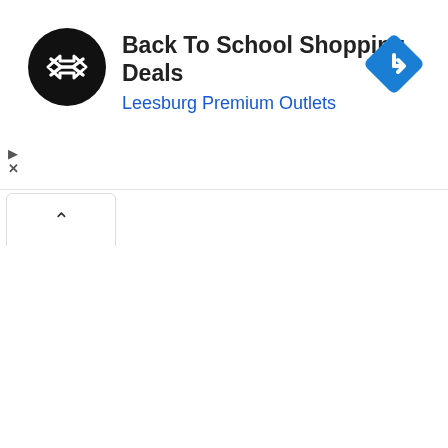[Figure (screenshot): Advertisement banner with black circular logo containing double arrow icon, title 'Back To School Shopping Deals', subtitle 'Leesburg Premium Outlets', and a blue diamond navigation icon on the right]
Back To School Shopping Deals
Leesburg Premium Outlets
View all planes ...